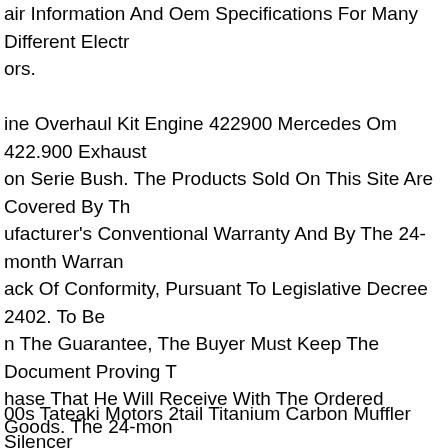air Information And Oem Specifications For Many Different Electr ors.
ine Overhaul Kit Engine 422900 Mercedes Om 422.900 Exhaust on Serie Bush. The Products Sold On This Site Are Covered By Th ufacturer's Conventional Warranty And By The 24-month Warran ack Of Conformity, Pursuant To Legislative Decree 2402. To Be n The Guarantee, The Buyer Must Keep The Document Proving T hase That He Will Receive With The Ordered Goods. The 24-mon anty Pursuant To Legislative Decree 2402 Applies To Products W ck Of Conformity, Provided That The Product Itself Is Used Corre ompliance With Its Intended Use And As Provided In The Attached inical Documentation. this Guarantee Is Reserved For The Private sumer (or Who Makes The Purchase Without Indicating The Vat ber). A 12-month Guarantee Will Be Reserved For Holders Of A V ber. In The Event Of A Lack Of Conformity, The Buyer Will Have.
00s Tateaki Motors 2tail Titanium Carbon Muffler Silencer